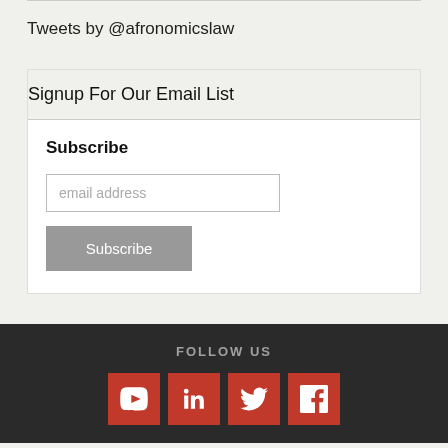Tweets by @afronomicslaw
Signup For Our Email List
Subscribe
email address
Subscribe
FOLLOW US
[Figure (other): Social media icons: YouTube, LinkedIn, Twitter, Facebook — red square icons with white logos]